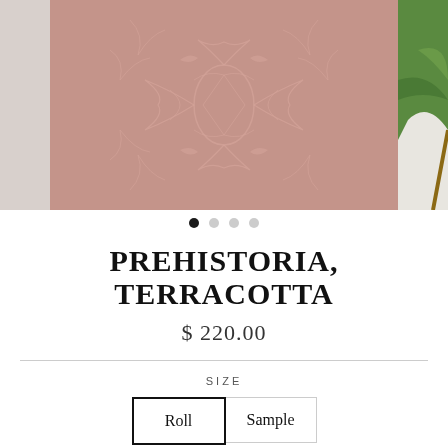[Figure (photo): Product image carousel showing a terracotta-colored wallpaper with a prehistoric/dinosaur damask pattern in the center panel, a light gray panel on the left, and a green plant partially visible on the right panel.]
● ○ ○ ○
PREHISTORIA, TERRACOTTA
$ 220.00
SIZE
Roll   Sample